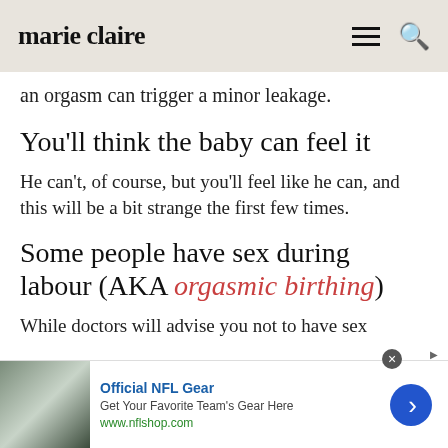marie claire
an orgasm can trigger a minor leakage.
You'll think the baby can feel it
He can't, of course, but you'll feel like he can, and this will be a bit strange the first few times.
Some people have sex during labour (AKA orgasmic birthing)
While doctors will advise you not to have sex
[Figure (other): Advertisement banner for Official NFL Gear - nflshop.com, showing NFL jerseys image on left, ad text in center, blue circular arrow button on right]